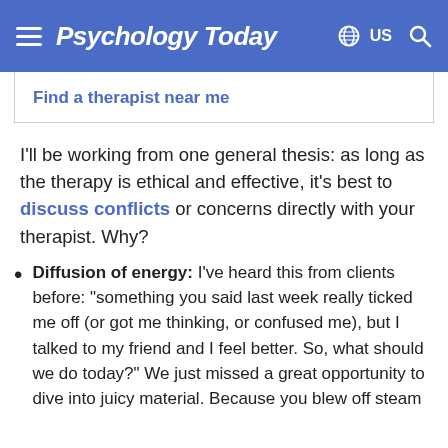Psychology Today  US
Find a therapist near me
I'll be working from one general thesis: as long as the therapy is ethical and effective, it's best to discuss conflicts or concerns directly with your therapist. Why?
Diffusion of energy: I've heard this from clients before: "something you said last week really ticked me off (or got me thinking, or confused me), but I talked to my friend and I feel better. So, what should we do today?" We just missed a great opportunity to dive into juicy material. Because you blew off steam